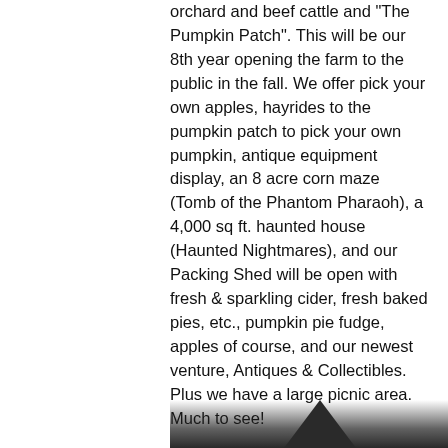orchard and beef cattle and "The Pumpkin Patch". This will be our 8th year opening the farm to the public in the fall. We offer pick your own apples, hayrides to the pumpkin patch to pick your own pumpkin, antique equipment display, an 8 acre corn maze (Tomb of the Phantom Pharaoh), a 4,000 sq ft. haunted house (Haunted Nightmares), and our Packing Shed will be open with fresh & sparkling cider, fresh baked pies, etc., pumpkin pie fudge, apples of course, and our newest venture, Antiques & Collectibles. Plus we have a large picnic area. Much to see!
Hollin Farms
(540) 592-3574
1410 Snowden Road, Delaplane, VA
www.hollinfarms.com
Hollin Farms is a four-generation family farm...